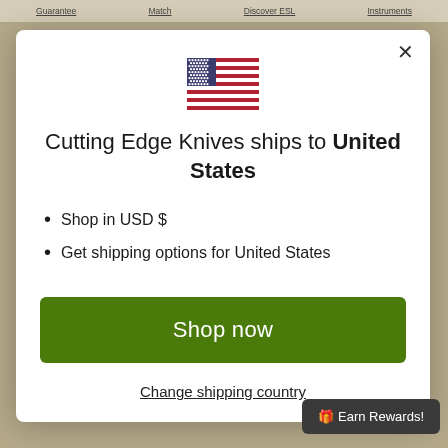Guarantee   Match   Discover ESL   Instruments
[Figure (illustration): US flag SVG illustration]
Cutting Edge Knives ships to United States
Shop in USD $
Get shipping options for United States
Shop now
Change shipping country
🎁 Earn Rewards!